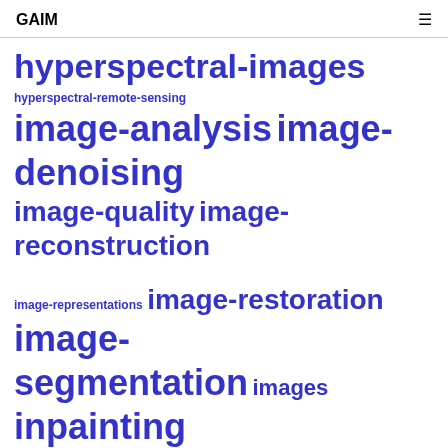GAIM
[Figure (infographic): Tag cloud of image processing and computer vision related terms in blue bold text, varying in font size by frequency/importance. Terms include: hyperspectral-images, hyperspectral-remote-sensing, image-analysis, image-denoising, image-quality, image-reconstruction, image-representations, image-restoration, image-segmentation, images, inpainting, inverse-problem, inverse-scattering, iterated-conditional-modes, lidar-data, local-image-descriptors, markov-random-field, markov-random-fields, medical-imaging, message-passing, microwave-]